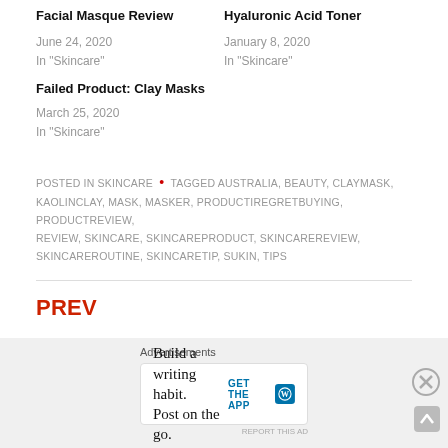Facial Masque Review
June 24, 2020
In "Skincare"
Hyaluronic Acid Toner
January 8, 2020
In "Skincare"
Failed Product: Clay Masks
March 25, 2020
In "Skincare"
POSTED IN SKINCARE • TAGGED AUSTRALIA, BEAUTY, CLAYMASK, KAOLINCLAY, MASK, MASKER, PRODUCTIREGRETBUYING, PRODUCTREVIEW, REVIEW, SKINCARE, SKINCAREPRODUCT, SKINCAREREVIEW, SKINCAREROUTINE, SKINCARETIP, SUKIN, TIPS
PREV
Advertisements
Build a writing habit. Post on the go. GET THE APP